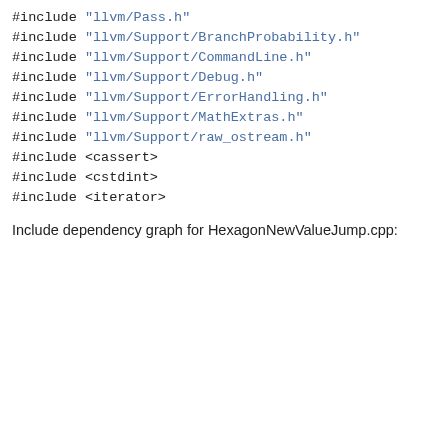#include "llvm/Pass.h"
#include "llvm/Support/BranchProbability.h"
#include "llvm/Support/CommandLine.h"
#include "llvm/Support/Debug.h"
#include "llvm/Support/ErrorHandling.h"
#include "llvm/Support/MathExtras.h"
#include "llvm/Support/raw_ostream.h"
#include <cassert>
#include <cstdint>
#include <iterator>
Include dependency graph for HexagonNewValueJump.cpp: